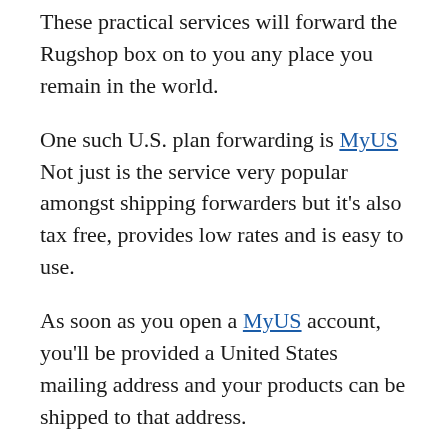These practical services will forward the Rugshop box on to you any place you remain in the world.
One such U.S. plan forwarding is MyUS Not just is the service very popular amongst shipping forwarders but it’s also tax free, provides low rates and is easy to use.
As soon as you open a MyUS account, you’ll be provided a United States mailing address and your products can be shipped to that address.
MyUS will accept delivery of the items in your place and ship them to you in your nation by carrier service.